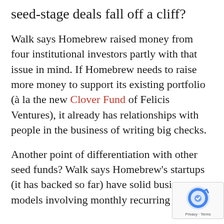seed-stage deals fall off a cliff?
Walk says Homebrew raised money from four institutional investors partly with that issue in mind. If Homebrew needs to raise more money to support its existing portfolio (à la the new Clover Fund of Felicis Ventures), it already has relationships with people in the business of writing big checks.
Another point of differentiation with other seed funds? Walk says Homebrew's startups (it has backed so far) have solid business models involving monthly recurring